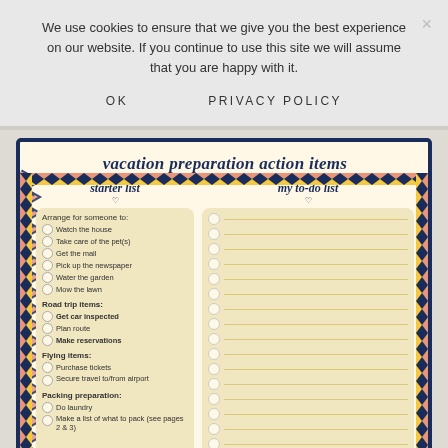We use cookies to ensure that we give you the best experience on our website. If you continue to use this site we will assume that you are happy with it.
OK    PRIVACY POLICY
[Figure (other): Vacation preparation action items checklist with two columns: starter list (left) with checkboxes for arrange for someone to watch the house, take care of the pet(s), get the mail, pick up the newspaper, water the garden, mow the lawn, road trip items: get car inspected, plan route, make reservations, flying items: purchase tickets, secure travel to/from airport, packing preparation: do laundry, make a list of what to pack (see pages 2 & 3); right column 'my to-do list' with empty checkbox lines. Decorative chevron border in navy, coral, and yellow.]